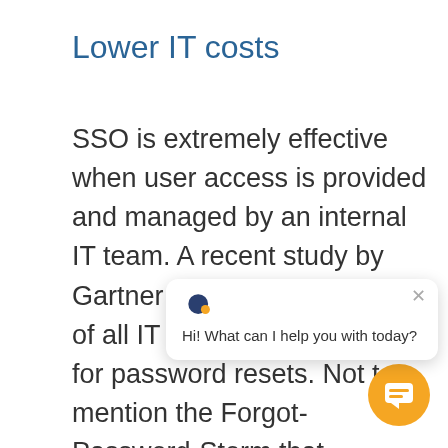Lower IT costs
SSO is extremely effective when user access is provided and managed by an internal IT team. A recent study by Gartner says that 20 to 50% of all IT help desk calls are for password resets. Not to mention the Forgot-Password-Storm that happens every year after the holidays. For [obscured] one password re[set] these calls are expensive, and the waste is unreasonable. The more passwords people need to remember, the more they forget. SSO reduces password-
[Figure (screenshot): Chat widget popup with logo and message 'Hi! What can I help you with today?' overlaid on the page content, with an orange circular chat button in the bottom right.]